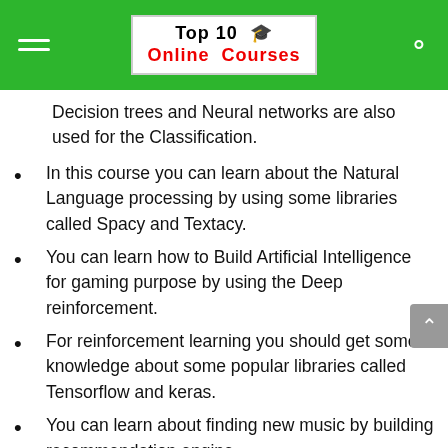Top 10 🎓 Online Courses
Decision trees and Neural networks are also used for the Classification.
In this course you can learn about the Natural Language processing by using some libraries called Spacy and Textacy.
You can learn how to Build Artificial Intelligence for gaming purpose by using the Deep reinforcement.
For reinforcement learning you should get some knowledge about some popular libraries called Tensorflow and keras.
You can learn about finding new music by building recommendation engine.